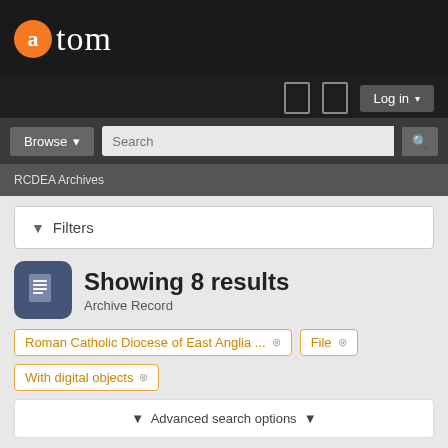[Figure (logo): AtoM archives software logo — orange circle with letter 'a' followed by 'tom' in white serif text on dark background]
Log in
Browse  Search
RCDEA Archives
Filters
Showing 8 results
Archive Record
Roman Catholic Diocese of East Anglia ...   File
With digital objects
Advanced search options
Print preview   View